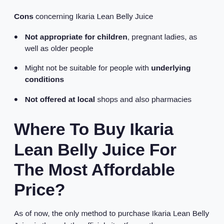Cons concerning Ikaria Lean Belly Juice
Not appropriate for children, pregnant ladies, as well as older people
Might not be suitable for people with underlying conditions
Not offered at local shops and also pharmacies
Where To Buy Ikaria Lean Belly Juice For The Most Affordable Price?
As of now, the only method to purchase Ikaria Lean Belly Juice is through the official site. If any other